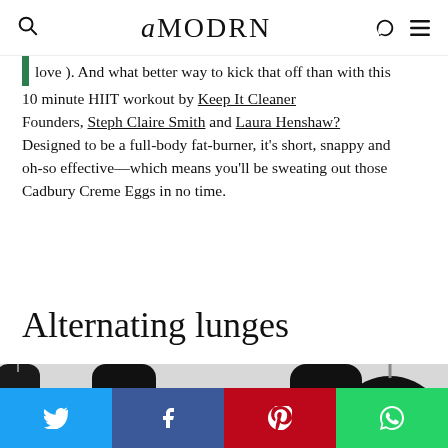amodrn
love ). And what better way to kick that off than with this 10 minute HIIT workout by Keep It Cleaner Founders, Steph Claire Smith and Laura Henshaw? Designed to be a full-body fat-burner, it's short, snappy and oh-so effective—which means you'll be sweating out those Cadbury Creme Eggs in no time.
Alternating lunges
[Figure (photo): Gym photo showing Everlast boxing bags hanging from ceiling; a person visible below the bags in a gym setting.]